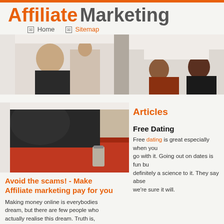Affiliate Marketing
Home  Sitemap
[Figure (photo): Header banner with office workers in meeting scenes, two panels side by side]
[Figure (photo): Person in dark jacket leaning over a red table with a glass]
Avoid the scams! - Make Affiliate marketing pay for you
Making money online is everybodies dream, but there are few people who actually realise this dream. Truth is, there is very little free information out there to tell you which affiliate programmes to join, what paid email site are legitimate or which persons "system"
Articles
Free Dating
Free dating is great especially when you go with it. Going out on dates is fun bu definitely a science to it. They say abse we're sure it will.